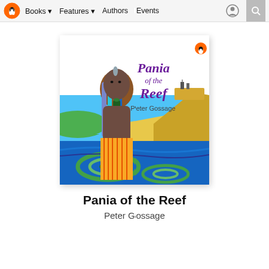Books | Features | Authors | Events
[Figure (illustration): Book cover for 'Pania of the Reef' by Peter Gossage. Shows a Māori woman with colorful braided hair and a tā moko pendant standing in the foreground, wearing a yellow flax skirt. Behind her is a stylized blue sea with green spiraling waves, a sandy shore, and a rocky headland or island with structures on top. The title 'Pania of the Reef' is written in purple decorative font at the top, with 'Peter Gossage' in smaller text below. A small Penguin Books logo appears top right of the cover.]
Pania of the Reef
Peter Gossage